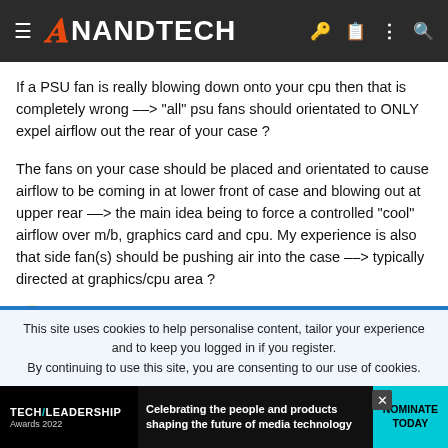AnandTech
If a PSU fan is really blowing down onto your cpu then that is completely wrong --> "all" psu fans should orientated to ONLY expel airflow out the rear of your case ?
The fans on your case should be placed and orientated to cause airflow to be coming in at lower front of case and blowing out at upper rear --> the main idea being to force a controlled "cool" airflow over m/b, graphics card and cpu. My experience is also that side fan(s) should be pushing air into the case --> typically directed at graphics/cpu area ?
🙂
This site uses cookies to help personalise content, tailor your experience and to keep you logged in if you register.
By continuing to use this site, you are consenting to our use of cookies.
[Figure (infographic): Tech Leadership Awards 2022 advertisement banner — Celebrating the people and products shaping the future of media technology. Nominate Today button.]